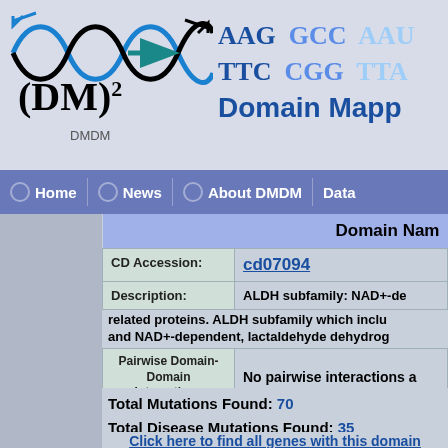[Figure (logo): DMDM logo with DNA double helix icon and (DM)^2 text logo]
Domain Mapping
Home  News  About DMDM  Data
|  | Domain Name |
| --- | --- |
| CD Accession: | cd07094 |
| Description: | ALDH subfamily: NAD+-dependent related proteins. ALDH subfamily which includes and NAD+-dependent, lactaldehyde dehydrogenase |
| Pairwise Domain-Domain Interactions | No pairwise interactions a |
| Statistics: |  |
Total Mutations Found: 70
Total Disease Mutations Found: 35
This domain occurred 18 times on human genome
Click here to find all genes with this domain